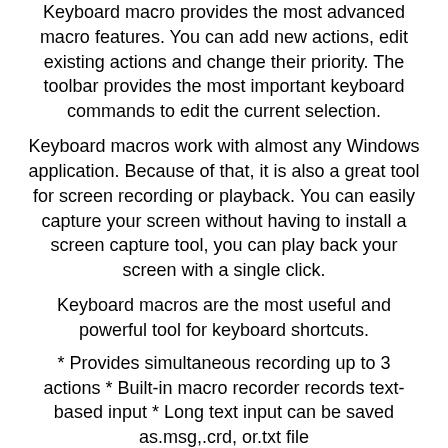Keyboard macro provides the most advanced macro features. You can add new actions, edit existing actions and change their priority. The toolbar provides the most important keyboard commands to edit the current selection.
Keyboard macros work with almost any Windows application. Because of that, it is also a great tool for screen recording or playback. You can easily capture your screen without having to install a screen capture tool, you can play back your screen with a single click.
Keyboard macros are the most useful and powerful tool for keyboard shortcuts.
* Provides simultaneous recording up to 3 actions * Built-in macro recorder records text-based input * Long text input can be saved as.msg,.crd, or.txt file
What's new in v.2.1.01:
* Fixed problem in the application when a file is opened and saved or when the first row of